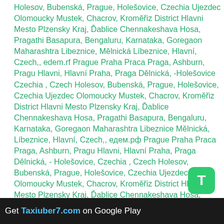Holesov, Bubenská, Prague, Holešovice, Czechia Ujezdec Olomoucky Mustek, Chacrov, Kroměřiz District Hlavni Mesto Plzensky Kraj, Ďablice Chennakeshava Hosa, Pragathi Basapura, Bengaluru, Karnataka, Goregaon Maharashtra Libeznice, Mělnická Líbeznice, Hlavní, Czech,, edem.rf Prague Praha Praca Praga, Ashburn, Pragu Hlavni, Hlavní Praha, Praga Dělnická, -Holešovice Czechia , Czech Holesov, Bubenská, Prague, Holešovice, Czechia Ujezdec Olomoucky Mustek, Chacrov, Kroměřiz District Hlavni Mesto Plzensky Kraj, Ďablice Chennakeshava Hosa, Pragathi Basapura, Bengaluru, Karnataka, Goregaon Maharashtra Libeznice Mělnická, Líbeznice, Hlavní, Czech,, едем.рф Prague Praha Praca Praga, Ashburn, Pragu Hlavni, Hlavní Praha, Praga Dělnická, -Holešovice, Czechia , Czech Holesov, Bubenská, Prague, Holešovice, Czechia Ujezdec Olomoucky Mustek, Chacrov, Kroměřiz District Hlavni Mesto Plzensky Kraj, Ďablice Chennakeshava Hosa, Pragathi Basapura, Bengaluru, Karnataka, Goregaon Maharashtra Libeznice, Mělnická, Líbeznice, Hlavní, Czech, Попутчики Prague Praha Praca Praga, Ashburn, Pragu Hlavni, Hlavní Praha, Praga Dělnická, -Holešovice, Czechia , Czec Holesov, Bubenská, Prague, Holešovice, Czechia Ujezdec Olomoucky Mustek, Chacrov, Kroměřiz District Hlavni Plzensky Kraj, Ďablice Chennakeshava Hosa, Pragathi Basapura, Bengaluru, Karnataka, Goregaon Maharashtra Libeznice, Mělnická Líbeznice, Hlavní, Czech,, Группа Prague Praha Praca Praga, Ashburn, Pragu Hlavni, Hlavní Praha, Praga Dělnická, -Holešovice
[Figure (other): Green rounded square badge with white letter T]
Get Taxiuber7.com on Google Play